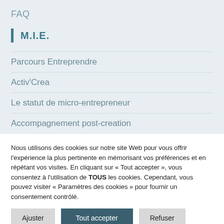FAQ
M.I.E.
Parcours Entreprendre
Activ'Crea
Le statut de micro-entrepreneur
Accompagnement post-creation
Nous utilisons des cookies sur notre site Web pour vous offrir l'expérience la plus pertinente en mémorisant vos préférences et en répétant vos visites. En cliquant sur « Tout accepter », vous consentez à l'utilisation de TOUS les cookies. Cependant, vous pouvez visiter « Paramètres des cookies » pour fournir un consentement contrôlé.
Ajuster | Tout accepter | Refuser